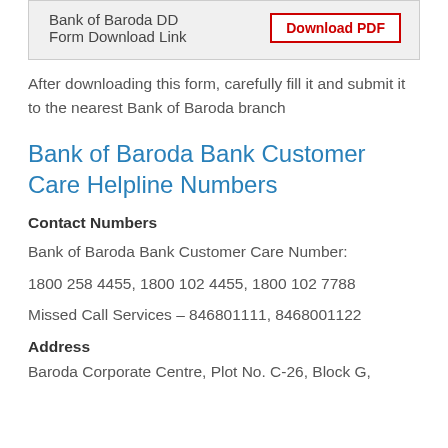|  |  |
| --- | --- |
| Bank of Baroda DD
Form Download Link | Download PDF |
After downloading this form, carefully fill it and submit it to the nearest Bank of Baroda branch
Bank of Baroda Bank Customer Care Helpline Numbers
Contact Numbers
Bank of Baroda Bank Customer Care Number:
1800 258 4455, 1800 102 4455, 1800 102 7788
Missed Call Services – 846801111, 8468001122
Address
Baroda Corporate Centre, Plot No. C-26, Block G,